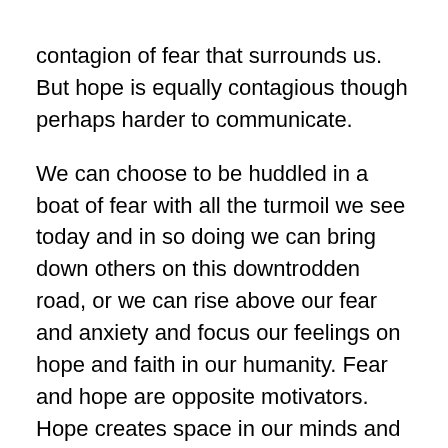contagion of fear that surrounds us. But hope is equally contagious though perhaps harder to communicate.

We can choose to be huddled in a boat of fear with all the turmoil we see today and in so doing we can bring down others on this downtrodden road, or we can rise above our fear and anxiety and focus our feelings on hope and faith in our humanity. Fear and hope are opposite motivators. Hope creates space in our minds and hearts because it asks to believe in something that could be, while fear, more often than not, restricts it. But they both have the capacity to promote growth in us. If we don’t give in to panic, fear shows us what we are afraid of losing which, in today’s turmoil, is life of loved ones, perhaps our own life, or control of a lifestyle. Once we recognize what we are most afraid of losing, (our health, our lives, loved ones), we can go about nurturing it and keeping it strong and